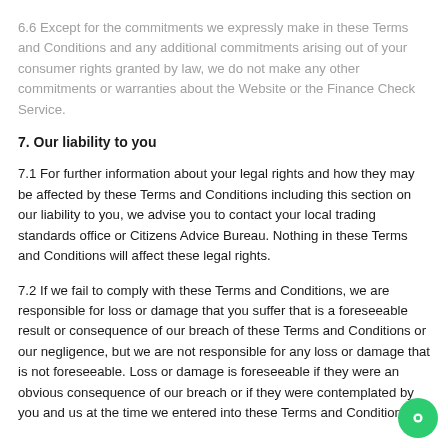6.6 Except for the commitments we expressly make in these Terms and Conditions and any additional commitments arising out of your consumer rights granted by law, we do not make any other commitments or warranties about the Website or the Finance Check Service.
7. Our liability to you
7.1 For further information about your legal rights and how they may be affected by these Terms and Conditions including this section on our liability to you, we advise you to contact your local trading standards office or Citizens Advice Bureau. Nothing in these Terms and Conditions will affect these legal rights.
7.2 If we fail to comply with these Terms and Conditions, we are responsible for loss or damage that you suffer that is a foreseeable result or consequence of our breach of these Terms and Conditions or our negligence, but we are not responsible for any loss or damage that is not foreseeable. Loss or damage is foreseeable if they were an obvious consequence of our breach or if they were contemplated by you and us at the time we entered into these Terms and Conditions.